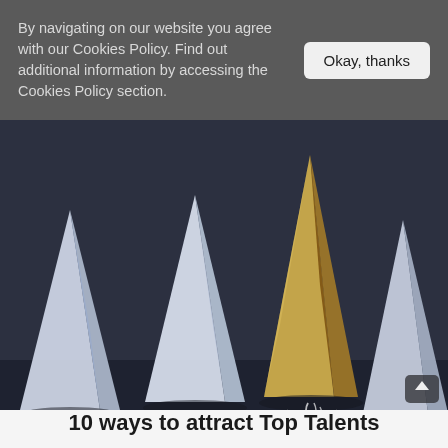By navigating on our website you agree with our Cookies Policy. Find out additional information by accessing the Cookies Policy section.
Okay, thanks
[Figure (photo): Four white paper airplanes and one gold/metallic paper airplane in the center on a dark background, with the gold airplane appearing to launch upward with chalk-drawn exhaust lines beneath it, symbolizing leadership or standing out from the crowd.]
10 ways to attract Top Talents